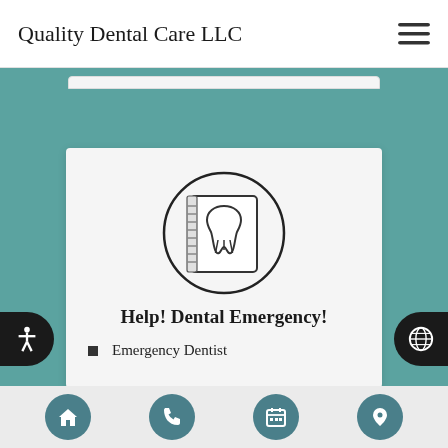Quality Dental Care LLC
[Figure (logo): Hamburger menu icon (three horizontal lines)]
[Figure (illustration): Dental X-ray book with tooth inside a circle outline icon]
Help! Dental Emergency!
Emergency Dentist
[Figure (other): Bottom navigation bar with home, phone, calendar, and location pin icons in teal circular buttons]